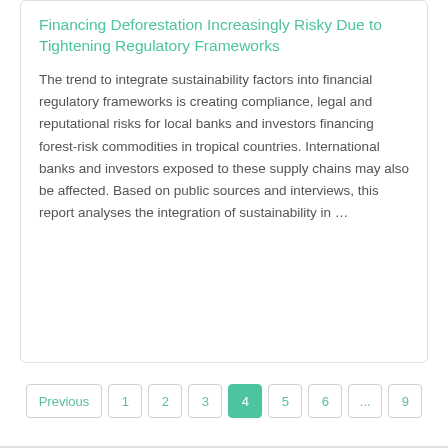Financing Deforestation Increasingly Risky Due to Tightening Regulatory Frameworks
The trend to integrate sustainability factors into financial regulatory frameworks is creating compliance, legal and reputational risks for local banks and investors financing forest-risk commodities in tropical countries. International banks and investors exposed to these supply chains may also be affected. Based on public sources and interviews, this report analyses the integration of sustainability in …
Previous  1  2  3  4  5  6  ...  9